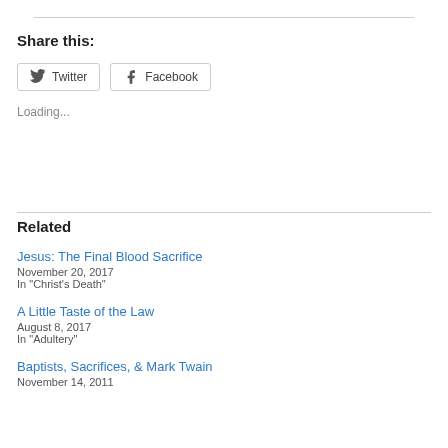Share this:
Twitter  Facebook
Loading...
Related
Jesus: The Final Blood Sacrifice
November 20, 2017
In "Christ's Death"
A Little Taste of the Law
August 8, 2017
In "Adultery"
Baptists, Sacrifices, & Mark Twain
November 14, 2011